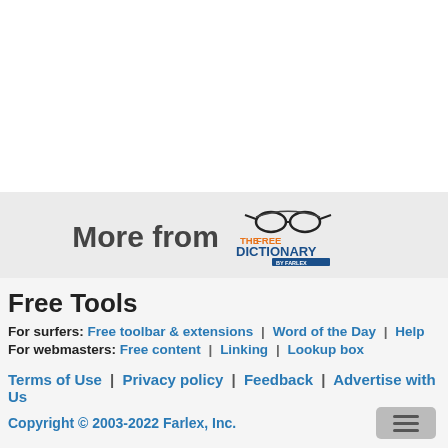[Figure (logo): The Free Dictionary by Farlex logo with glasses icon]
Free Tools
For surfers: Free toolbar & extensions | Word of the Day | Help
For webmasters: Free content | Linking | Lookup box
Terms of Use | Privacy policy | Feedback | Advertise with Us
Copyright © 2003-2022 Farlex, Inc.